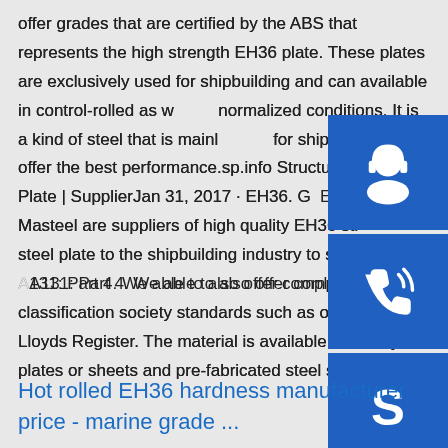offer grades that are certified by the ABS that represents the high strength EH36 plate. These plates are exclusively used for shipbuilding and can available in control-rolled as well as normalized conditions. It is a kind of steel that is mainly used for shipbuilding and offer the best performance.sp.info Structural Steel Plate | SupplierJan 31, 2017 · EH36. G... EH36 – Masteel are suppliers of high quality EH36 structural steel plate to the shipbuilding industry to specification A131: Part 4. We able to also offer compliance with classification society standards such as ones set by Lloyds Register. The material is available as heavy plates or sheets and pre-fabricated steel sections.
[Figure (illustration): Three blue square buttons with white icons: headset/customer service icon, phone with signal waves icon, and Skype 'S' logo icon]
Hot rolled EH36 hardness manufacturer price - marine grade ...